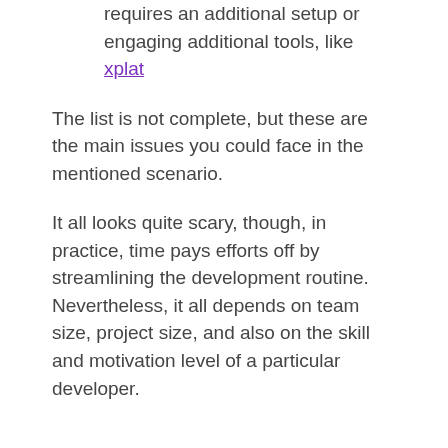requires an additional setup or engaging additional tools, like xplat
The list is not complete, but these are the main issues you could face in the mentioned scenario.
It all looks quite scary, though, in practice, time pays efforts off by streamlining the development routine. Nevertheless, it all depends on team size, project size, and also on the skill and motivation level of a particular developer.
Conclusions
There's a bunch of advanced web development and teamwork tools that make